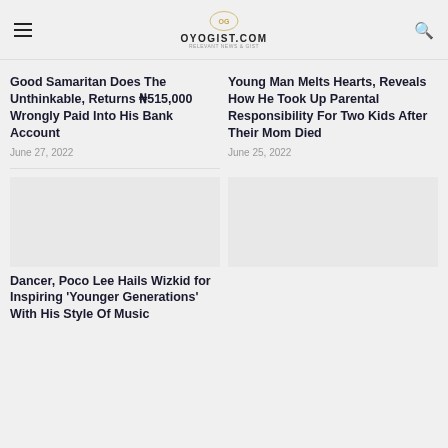OYOGIST.COM
Good Samaritan Does The Unthinkable, Returns ₦515,000 Wrongly Paid Into His Bank Account
June 27, 2022
Young Man Melts Hearts, Reveals How He Took Up Parental Responsibility For Two Kids After Their Mom Died
June 25, 2022
[Figure (photo): Image placeholder for Poco Lee article]
Dancer, Poco Lee Hails Wizkid for Inspiring 'Younger Generations' With His Style Of Music